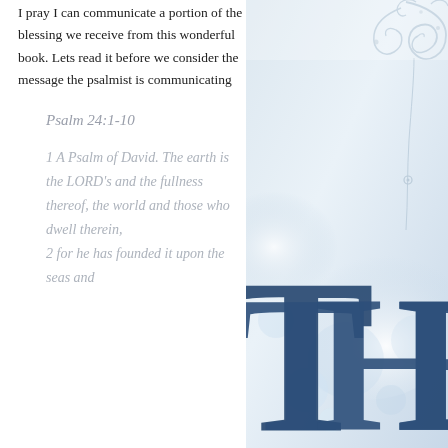I pray I can communicate a portion of the blessing we receive from this wonderful book. Lets read it before we consider the message the psalmist is communicating
Psalm 24:1-10
1 A Psalm of David. The earth is the LORD's and the fullness thereof, the world and those who dwell therein, 2 for he has founded it upon the seas and
[Figure (illustration): Book cover showing large dark blue letters 'THE P' (partially visible), with decorative silver swirl/flourish design in upper right corner, against a soft light blue and white bokeh/cloudy background]